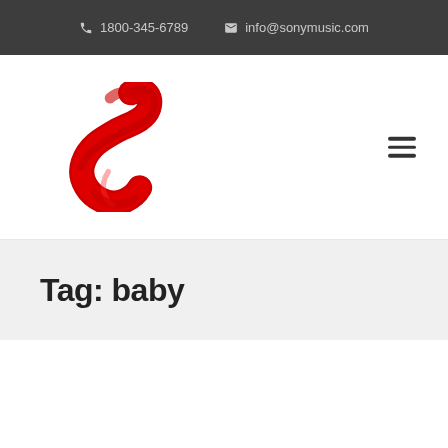1800-345-6789  info@sonymusic.com
[Figure (logo): Sony Music logo: red brushstroke S shape above text SONY MUSIC]
Tag: baby